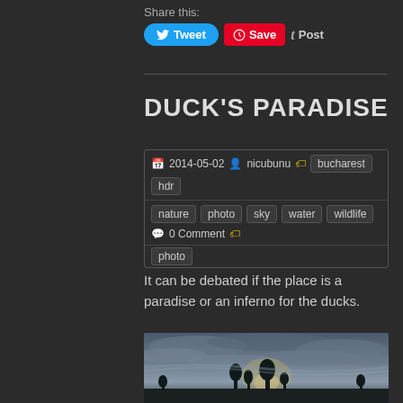Share this:
Tweet  Save  Post
DUCK'S PARADISE
2014-05-02  nicubunu  bucharest  hdr  nature  photo  sky  water  wildlife  0 Comment  photo
It can be debated if the place is a paradise or an inferno for the ducks.
[Figure (photo): HDR photo of a dramatic cloudy sky over a landscape with trees silhouetted in the foreground and golden light breaking through clouds]